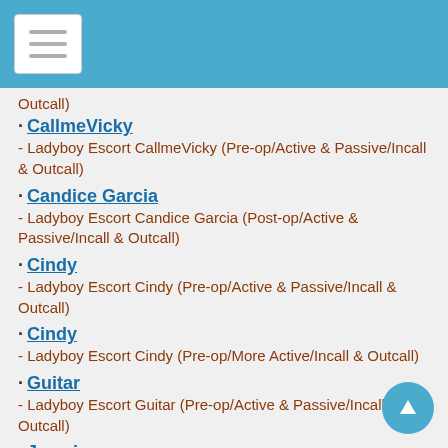Outcall)
· CallmeVicky
- Ladyboy Escort CallmeVicky (Pre-op/Active & Passive/Incall & Outcall)
· Candice Garcia
- Ladyboy Escort Candice Garcia (Post-op/Active & Passive/Incall & Outcall)
· Cindy
- Ladyboy Escort Cindy (Pre-op/Active & Passive/Incall & Outcall)
· Cindy
- Ladyboy Escort Cindy (Pre-op/More Active/Incall & Outcall)
· Guitar
- Ladyboy Escort Guitar (Pre-op/Active & Passive/Incall & Outcall)
· Jasmine
- Ladyboy Escort Jasmine (Pre-op/Active & Passive/Incall & Outcall)